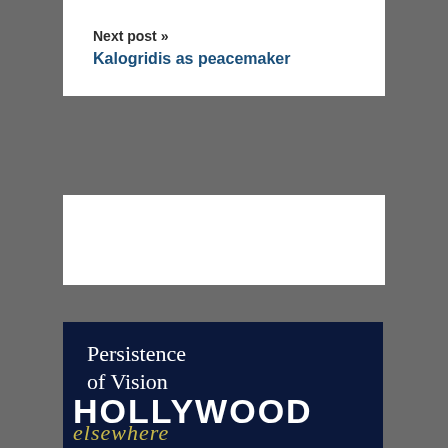Next post »
Kalogridis as peacemaker
[Figure (illustration): Book cover for 'Persistence of Vision: Hollywood Elsewhere' with dark blue background and stylized text]
Persistence of Vision
HOLLYWOOD elsewhere